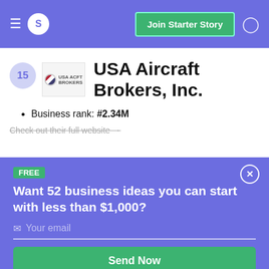S  Join Starter Story
USA Aircraft Brokers, Inc.
Business rank: #2.34M
Check out their full website →
FREE
Want 52 business ideas you can start with less than $1,000?
Your email
Send Now